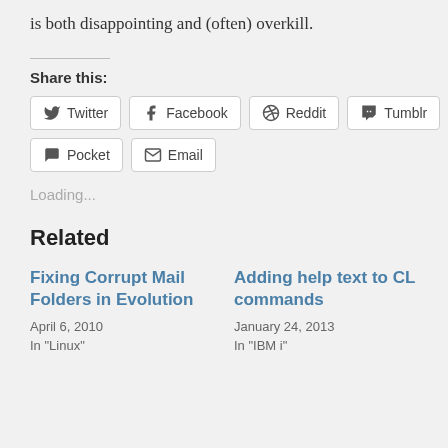is both disappointing and (often) overkill.
Share this:
Twitter Facebook Reddit Tumblr Pocket Email
Loading...
Related
Fixing Corrupt Mail Folders in Evolution
April 6, 2010
In "Linux"
Adding help text to CL commands
January 24, 2013
In "IBM i"